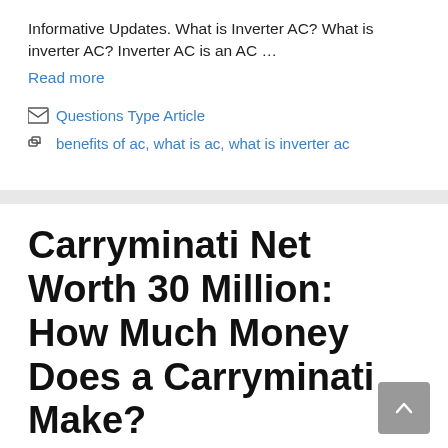Informative Updates. What is Inverter AC? What is inverter AC? Inverter AC is an AC …
Read more
Questions Type Article
benefits of ac, what is ac, what is inverter ac
Carryminati Net Worth 30 Million: How Much Money Does a Carryminati Make?
August 2, 2021 by Subodh Kaushik